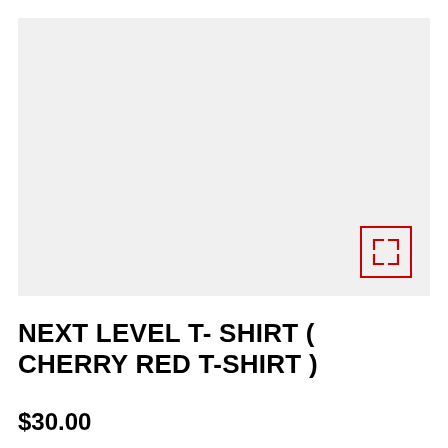[Figure (photo): Product image placeholder area with light gray background and a red expand/fullscreen icon in the bottom-right corner]
NEXT LEVEL T- SHIRT ( CHERRY RED T-SHIRT )
$30.00